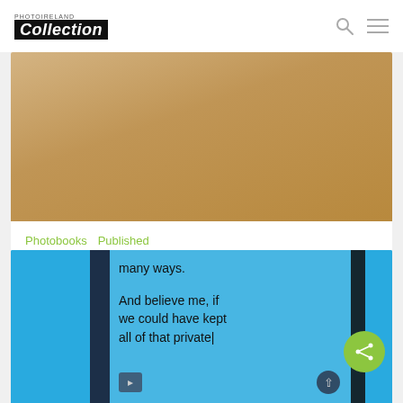PHOTOIRELAND Collection
[Figure (photo): Tan/kraft paper textured book cover, top portion visible]
Photobooks  Published
An Attic Full of Trains
[Figure (photo): Open blue book showing text: 'many ways.' and 'And believe me, if we could have kept all of that private|' with navigation arrow buttons]